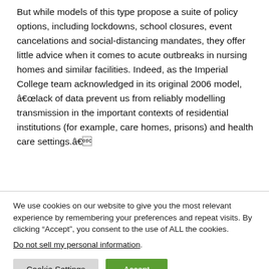But while models of this type propose a suite of policy options, including lockdowns, school closures, event cancelations and social-distancing mandates, they offer little advice when it comes to acute outbreaks in nursing homes and similar facilities. Indeed, as the Imperial College team acknowledged in its original 2006 model, â€œlack of data prevent us from reliably modelling transmission in the important contexts of residential institutions (for example, care homes, prisons) and health care settings.â€
We use cookies on our website to give you the most relevant experience by remembering your preferences and repeat visits. By clicking “Accept”, you consent to the use of ALL the cookies.
Do not sell my personal information.